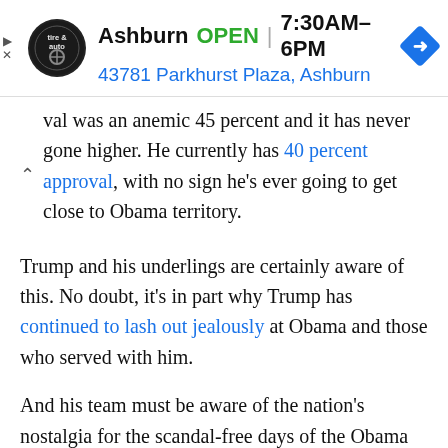[Figure (screenshot): Advertisement banner for Ashburn tire & auto shop showing logo, OPEN status, hours 7:30AM-6PM, and address 43781 Parkhurst Plaza, Ashburn with navigation arrow icon]
val was an anemic 45 percent and it has never gone higher. He currently has 40 percent approval, with no sign he's ever going to get close to Obama territory.
Trump and his underlings are certainly aware of this. No doubt, it's in part why Trump has continued to lash out jealously at Obama and those who served with him.
And his team must be aware of the nation's nostalgia for the scandal-free days of the Obama White House, and how so much of the country would already like to see Trump gone.
Even his running mate, Mike Pence, seems to have figured